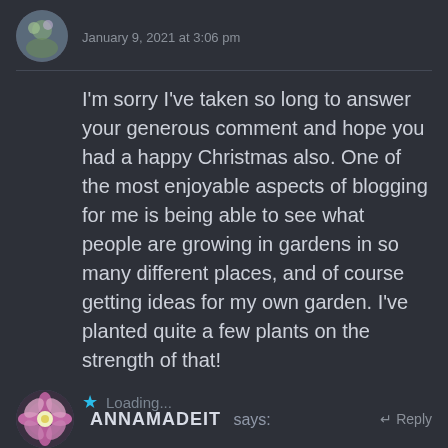January 9, 2021 at 3:06 pm
I'm sorry I've taken so long to answer your generous comment and hope you had a happy Christmas also. One of the most enjoyable aspects of blogging for me is being able to see what people are growing in gardens in so many different places, and of course getting ideas for my own garden. I've planted quite a few plants on the strength of that!
Loading...
ANNAMADEIT says:
Reply